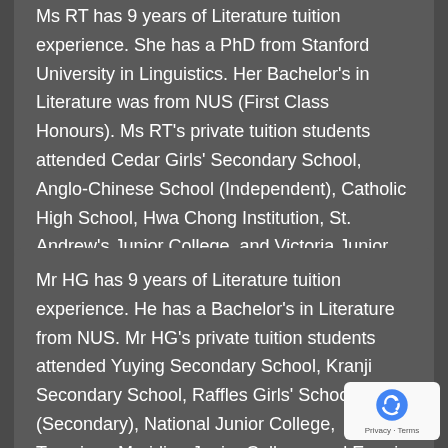Ms RT has 9 years of Literature tuition experience. She has a PhD from Stanford University in Linguistics. Her Bachelor's in Literature was from NUS (First Class Honours). Ms RT's private tuition students attended Cedar Girls' Secondary School, Anglo-Chinese School (Independent), Catholic High School, Hwa Chong Institution, St. Andrew's Junior College, and Victoria Junior College.
Mr HG has 9 years of Literature tuition experience. He has a Bachelor's in Literature from NUS. Mr HG's private tuition students attended Yuying Secondary School, Kranji Secondary School, Raffles Girls' School (Secondary), National Junior College, Tampines Meridian Junior College, and Eunoia